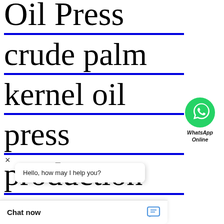Oil Press crude palm kernel oil press production line
[Figure (logo): WhatsApp green circle logo icon with white phone handset]
WhatsApp Online
[Figure (screenshot): Chat popup with close X button and text: Hello, how may I help you?]
Hello, how may I help you?
Chat now